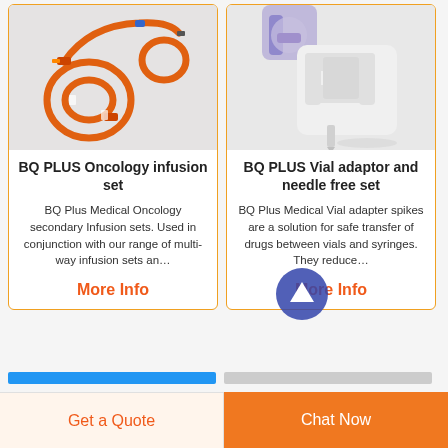[Figure (photo): Orange oncology infusion set tubing with connectors coiled on white background]
BQ PLUS Oncology infusion set
BQ Plus Medical Oncology secondary Infusion sets. Used in conjunction with our range of multi-way infusion sets an…
More Info
[Figure (photo): White plastic vial adaptor device with purple/blue syringe tip on white background]
BQ PLUS Vial adaptor and needle free set
BQ Plus Medical Vial adapter spikes are a solution for safe transfer of drugs between vials and syringes. They reduce…
More Info